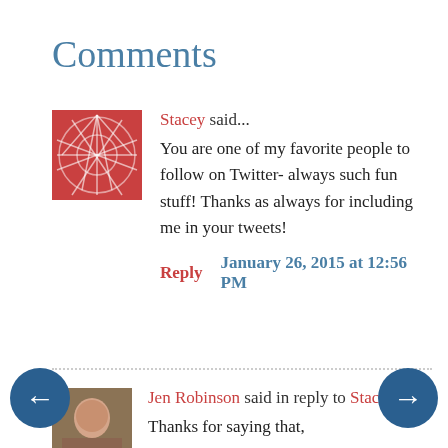Comments
Stacey said... You are one of my favorite people to follow on Twitter- always such fun stuff! Thanks as always for including me in your tweets!
Reply   January 26, 2015 at 12:56 PM
Jen Robinson said in reply to Stacey... Thanks for saying that,